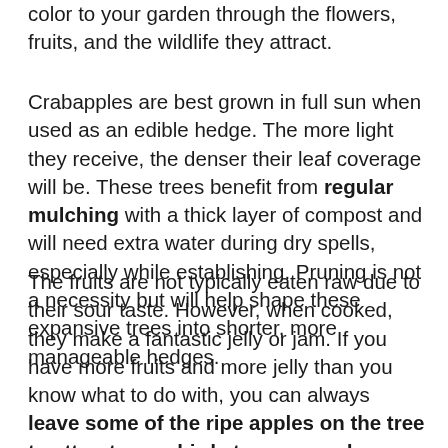color to your garden through the flowers, fruits, and the wildlife they attract.
Crabapples are best grown in full sun when used as an edible hedge. The more light they receive, the denser their leaf coverage will be. These trees benefit from regular mulching with a thick layer of compost and will need extra water during dry spells, especially while establishing. Pruning is not a necessity but will help shape these expansive trees into shorter, more manageable hedges.
The fruits are not typically eaten raw due to their sour taste. However, when cooked, they make a fantastic jelly or jam. If you have more fruits and more jelly than you know what to do with, you can always leave some of the ripe apples on the tree to attract more birds to your garden. They'll appreciate the extra food and may reward you by snacking on some of the damaging pests that plague garden...